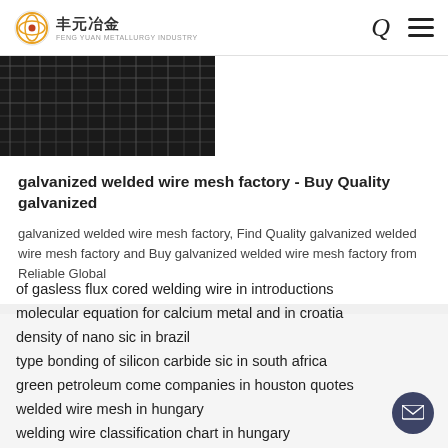丰元冶金
[Figure (photo): Dark photograph of wire mesh or metallic material]
galvanized welded wire mesh factory - Buy Quality galvanized
galvanized welded wire mesh factory, Find Quality galvanized welded wire mesh factory and Buy galvanized welded wire mesh factory from Reliable Global
of gasless flux cored welding wire in introductions
molecular equation for calcium metal and in croatia
density of nano sic in brazil
type bonding of silicon carbide sic in south africa
green petroleum come companies in houston quotes
welded wire mesh in hungary
welding wire classification chart in hungary